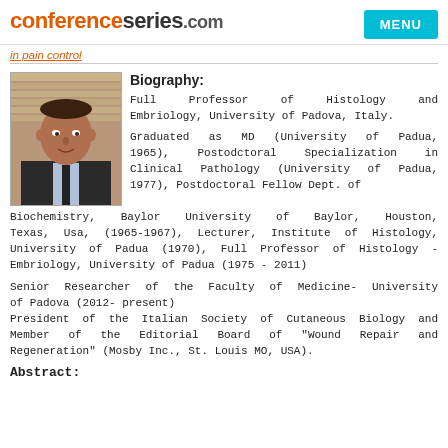conferenceseries.com
in pain control
[Figure (photo): Portrait photo of a middle-aged man in a suit with a tie]
Biography:
Full Professor of Histology and Embriology, University of Padova, Italy.
Graduated as MD (University of Padua, 1965), Postodctoral Specialization in Clinical Pathology (University of Padua, 1977), Postdoctoral Fellow Dept. of Biochemistry, Baylor University of Baylor, Houston, Texas, Usa, (1965-1967), Lecturer, Institute of Histology, University of Padua (1970), Full Professor of Histology - Embriology, University of Padua (1975 - 2011)
Senior Researcher of the Faculty of Medicine- University of Padova (2012- present)
President of the Italian Society of Cutaneous Biology and Member of the Editorial Board of "Wound Repair and Regeneration" (Mosby Inc., St. Louis MO, USA).
Abstract: